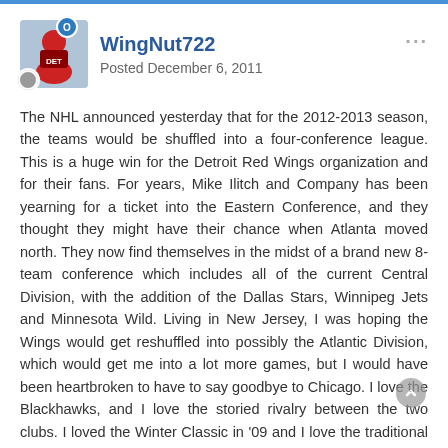WingNut722 — Posted December 6, 2011
The NHL announced yesterday that for the 2012-2013 season, the teams would be shuffled into a four-conference league. This is a huge win for the Detroit Red Wings organization and for their fans. For years, Mike Ilitch and Company has been yearning for a ticket into the Eastern Conference, and they thought they might have their chance when Atlanta moved north. They now find themselves in the midst of a brand new 8-team conference which includes all of the current Central Division, with the addition of the Dallas Stars, Winnipeg Jets and Minnesota Wild. Living in New Jersey, I was hoping the Wings would get reshuffled into possibly the Atlantic Division, which would get me into a lot more games, but I would have been heartbroken to have to say goodbye to Chicago. I love the Blackhawks, and I love the storied rivalry between the two clubs. I loved the Winter Classic in '09 and I love the traditional home-and-home series to close out the season. So honestly, I would say this is a better